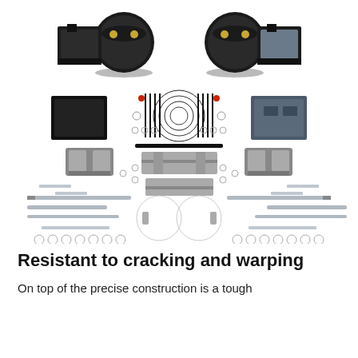[Figure (photo): Exploded view of an air suspension kit showing all components laid out: two large black air bags/bellows, mounting brackets, plates, bolts, nuts, washers, clamps, air line tubing, zip ties, and various hardware pieces arranged symmetrically on a white background.]
Resistant to cracking and warping
On top of the precise construction is a tough